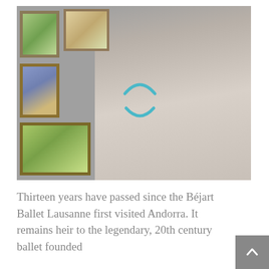[Figure (photo): A man with short hair and a light beard stands in front of a gray wall hung with framed paintings. He wears a light blue/gray open-collar shirt. A teal circular loading spinner is overlaid on his torso area.]
Thirteen years have passed since the Béjart Ballet Lausanne first visited Andorra. It remains heir to the legendary, 20th century ballet founded